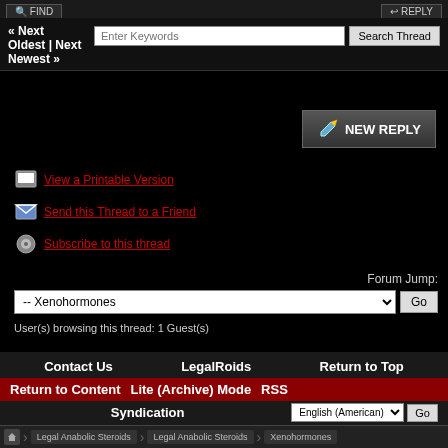FIND | REPLY
« Next Oldest | Next Newest »
Enter Keywords | Search Thread
[Figure (screenshot): NEW REPLY button with pencil/arrow icon]
View a Printable Version
Send this Thread to a Friend
Subscribe to this thread
Forum Jump: -- Xenohormones | Go
User(s) browsing this thread: 1 Guest(s)
Contact Us | LegalRoids | Return to Top
Return to Content | Lite (Archive) Mode | RSS Syndication
English (American) | Go
Powered By MyBB, © 2002-2022 MyBB Group. Blaze Red Theme Made By: NBK*Twitch
Legal Anabolic Steroids | Legal Anabolic Steroids | Xenohormones